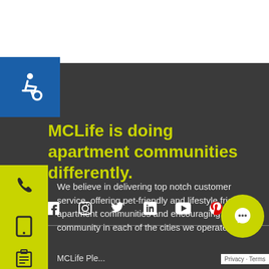[Figure (logo): Blue square with white wheelchair accessibility icon]
MCLife is doing apartment communities differently.
[Figure (illustration): Yellow square with white phone icon]
[Figure (illustration): Yellow square with white tablet/mobile icon]
[Figure (illustration): Yellow square with white clipboard icon]
We believe in delivering top notch customer service, offering pet-friendly and lifestyle friendly apartment communities and encouraging community in each of the cities we operate in.
[Figure (infographic): Row of social media icons: Facebook, Instagram, Twitter/X, LinkedIn, YouTube, Pinterest]
MCLife Ple...
[Figure (illustration): Yellow circular chat bubble icon with white speech bubble icon inside, bottom right corner. Privacy/Terms label below.]